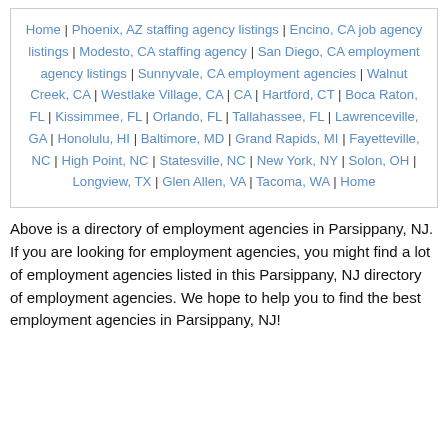Home | Phoenix, AZ staffing agency listings | Encino, CA job agency listings | Modesto, CA staffing agency | San Diego, CA employment agency listings | Sunnyvale, CA employment agencies | Walnut Creek, CA | Westlake Village, CA | CA | Hartford, CT | Boca Raton, FL | Kissimmee, FL | Orlando, FL | Tallahassee, FL | Lawrenceville, GA | Honolulu, HI | Baltimore, MD | Grand Rapids, MI | Fayetteville, NC | High Point, NC | Statesville, NC | New York, NY | Solon, OH | Longview, TX | Glen Allen, VA | Tacoma, WA | Home
Above is a directory of employment agencies in Parsippany, NJ. If you are looking for employment agencies, you might find a lot of employment agencies listed in this Parsippany, NJ directory of employment agencies. We hope to help you to find the best employment agencies in Parsippany, NJ!